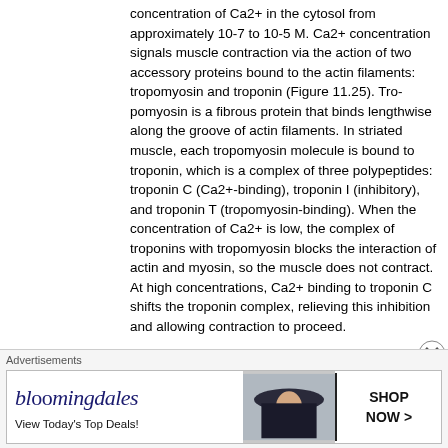concentration of Ca2+ in the cytosol from approximately 10-7 to 10-5 M. Ca2+ concentration signals muscle contraction via the action of two accessory proteins bound to the actin filaments: tropomyosin and troponin (Figure 11.25). Tropomyosin is a fibrous protein that binds lengthwise along the groove of actin filaments. In striated muscle, each tropomyosin molecule is bound to troponin, which is a complex of three polypeptides: troponin C (Ca2+-binding), troponin I (inhibitory), and troponin T (tropomyosin-binding). When the concentration of Ca2+ is low, the complex of troponins with tropomyosin blocks the interaction of actin and myosin, so the muscle does not contract. At high concentrations, Ca2+ binding to troponin C shifts the troponin complex, relieving this inhibition and allowing contraction to proceed.
Figure 11.25
Association of tropomyosin and troponins with actin filaments. (A) Tropomyosin runs lengthwise along actin filaments and, in striated muscle, is associated with a complex of three troponins: troponin I (TnI), troponin C (TnC), and troponin T (TnT).
Contractile Assemblies of Actin and Myosin in Nonmuscle Cells
Contractile assemblies of actin and myosin, resembling small-scale versions of muscle fibers, are present also in nonmuscle cells. As in muscle, the actin filaments in these contractile assemblies are interdigitated with bipolar filaments of myo